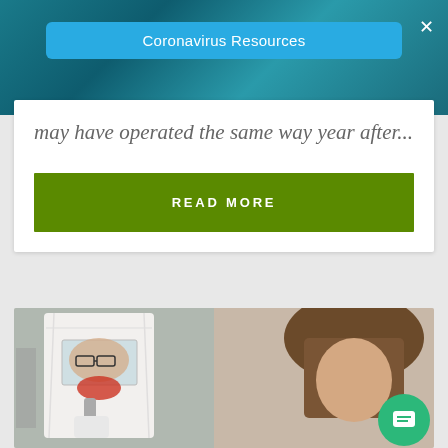[Figure (screenshot): Coronavirus Resources banner pill button on teal/blue virus microscopy background with close X button]
may have operated the same way year after...
READ MORE
[Figure (photo): Medical photo showing a person wearing a white protective hood/helmet device with a clear face window and mask apparatus, being assisted by another person]